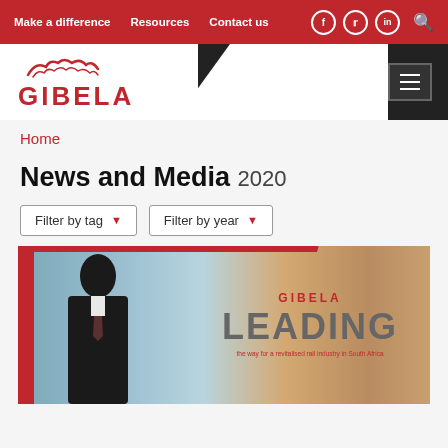Make a difference | Resources | Contact us
[Figure (logo): Gibela company logo with lion motif in red]
Home
News and Media 2020
Filter by tag ▾   Filter by year ▾
[Figure (photo): Gibela magazine cover showing a man in a suit with 'LEADING' text and subtitle 'the way for a revitalised rail industry in South Africa']